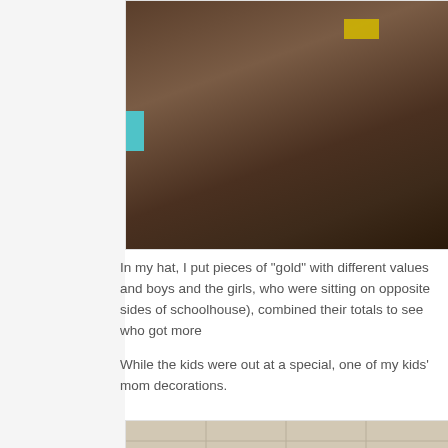[Figure (photo): Close-up photo of a dark brown hat with a cyan/teal element on the left side and a yellow piece inside, viewed from above.]
In my hat, I put pieces of "gold" with different values and boys and the girls, who were sitting on opposite sides of schoolhouse), combined their totals to see who got more
While the kids were out at a special, one of my kids' mom decorations.
[Figure (photo): Photo of a classroom ceiling and floor with string Christmas lights with yellow bulbs on a dark green wire, lying on a light-colored tile floor near a wooden surface.]